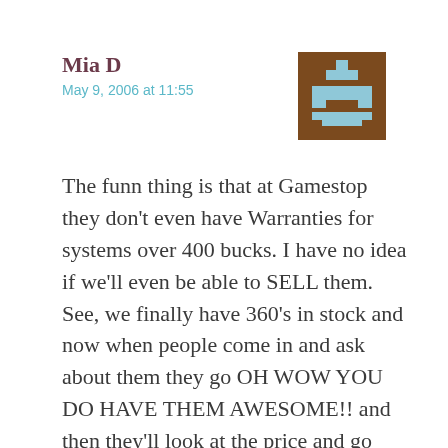Mia D
May 9, 2006 at 11:55
[Figure (illustration): Pixelated avatar icon — brown background with light blue puzzle/bracket shapes forming an abstract figure]
The funn thing is that at Gamestop they don't even have Warranties for systems over 400 bucks. I have no idea if we'll even be able to SELL them. See, we finally have 360's in stock and now when people come in and ask about them they go OH WOW YOU DO HAVE THEM AWESOME!! and then they'll look at the price and go URRRGH UHH MAYBE NOT and walk out.